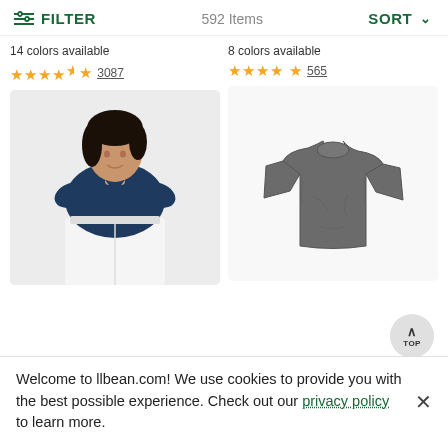FILTER   592 Items   SORT
14 colors available
★★★★½ 3087
[Figure (photo): Woman wearing a navy blue V-neck short sleeve t-shirt with white jeans, smiling]
8 colors available
★★★★½ 565
[Figure (photo): Gray crew-neck short sleeve t-shirt laid flat on white background]
Welcome to llbean.com! We use cookies to provide you with the best possible experience. Check out our privacy policy to learn more.